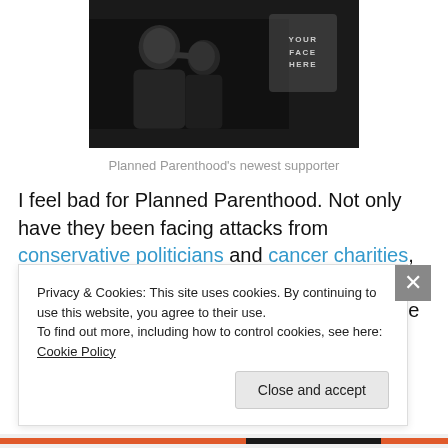[Figure (photo): Black and white photo of a man and woman, with a gray placeholder box saying YOUR FACE HERE on the right side]
Planned Parenthood's newest supporter
I feel bad for Planned Parenthood. Not only have they been facing attacks from conservative politicians and cancer charities, defunding threats, and–I kid you not–firebombs, but now they have to deal with the odious filth
Privacy & Cookies: This site uses cookies. By continuing to use this website, you agree to their use.
To find out more, including how to control cookies, see here: Cookie Policy